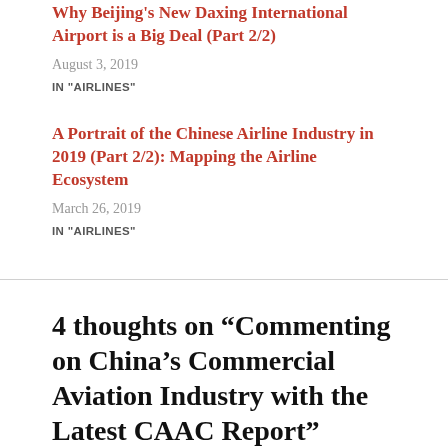Why Beijing's New Daxing International Airport is a Big Deal (Part 2/2)
August 3, 2019
IN "AIRLINES"
A Portrait of the Chinese Airline Industry in 2019 (Part 2/2): Mapping the Airline Ecosystem
March 26, 2019
IN "AIRLINES"
4 thoughts on “Commenting on China’s Commercial Aviation Industry with the Latest CAAC Report”